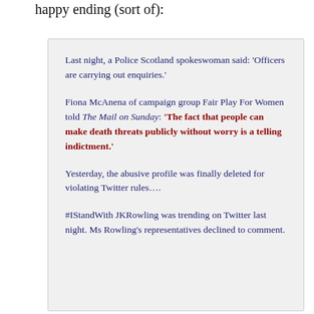happy ending (sort of):
Last night, a Police Scotland spokeswoman said: 'Officers are carrying out enquiries.'
Fiona McAnena of campaign group Fair Play For Women told The Mail on Sunday: 'The fact that people can make death threats publicly without worry is a telling indictment.'
Yesterday, the abusive profile was finally deleted for violating Twitter rules….
#IStandWith JKRowling was trending on Twitter last night. Ms Rowling's representatives declined to comment.